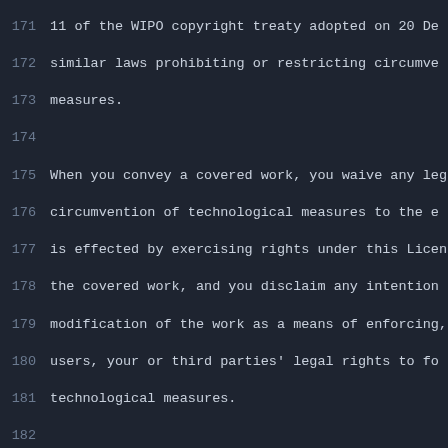171 11 of the WIPO copyright treaty adopted on 20 De
172 similar laws prohibiting or restricting circumve
173 measures.
174
175 When you convey a covered work, you waive any leg
176 circumvention of technological measures to the e
177 is effected by exercising rights under this Licen
178 the covered work, and you disclaim any intention
179 modification of the work as a means of enforcing,
180 users, your or third parties' legal rights to fo
181 technological measures.
182
183 4. Conveying Verbatim Copies.
184
185 You may convey verbatim copies of the Program's s
186 receive it, in any medium, provided that you cons
187 appropriately publish on each copy an appropriate
188 keep intact all notices stating that this License
189 non-permissive terms added in accord with section
190 keep intact all notices of the absence of any wa
191 recipients a copy of this License along with the
192
193 You may charge any price or no price for each cop
194 and you may offer support or warranty protection
195
196 5. Conveying Modified Source Versions.
197
198 You may convey a work based on the Program, or th
199 produce it from the Program, in the form of sourc
200 terms of section 4, provided that you also meet a